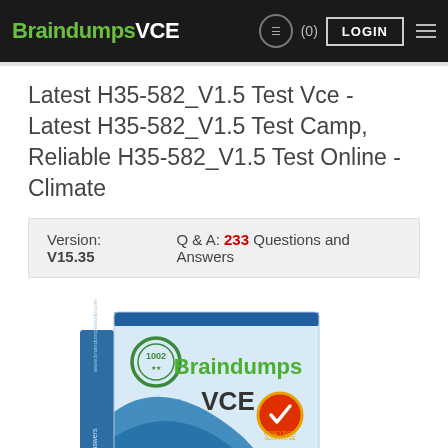BraindumpsVCE  (0)  LOGIN
Latest H35-582_V1.5 Test Vce - Latest H35-582_V1.5 Test Camp, Reliable H35-582_V1.5 Test Online - Climate
Version: V15.35    Q & A: 233 Questions and Answers
[Figure (illustration): BraindumpsVCE product box showing a 3D book/box with 'Braindumps VCE' text in green and dark, with 'Questions & Answers' at the bottom, a checkmark seal badge, and a circular logo badge on the spine.]